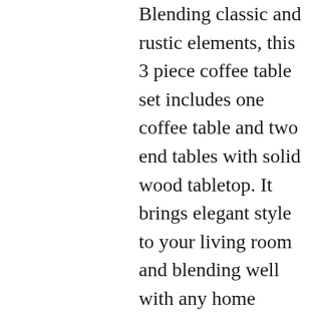Blending classic and rustic elements, this 3 piece coffee table set includes one coffee table and two end tables with solid wood tabletop. It brings elegant style to your living room and blending well with any home decor.
【Table set of 3 with Storage】: Each tables have a bottom shelf for extra storage like magazines and decorative pieces.For both style and substance, exposed iron edges and accents have been included in order to make this coffee table even more